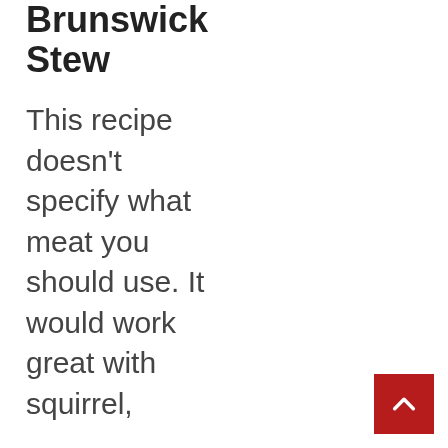Brunswick Stew
This recipe doesn't specify what meat you should use. It would work great with squirrel,